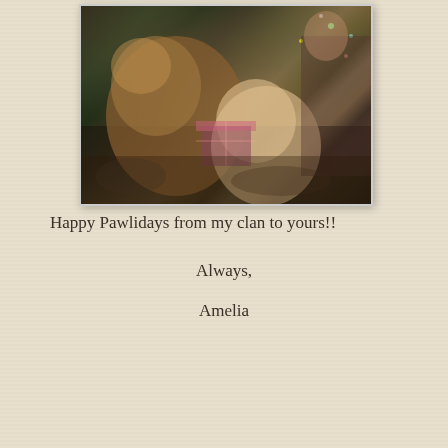[Figure (photo): Two fluffy dogs near a Christmas tree with a person, photographed indoors during the holiday season]
Happy Pawlidays from my clan to yours!!
Always,
Amelia